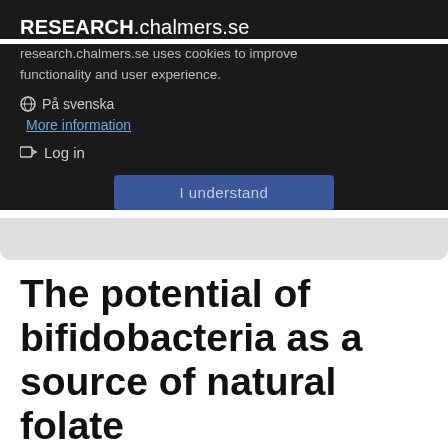RESEARCH.chalmers.se
research.chalmers.se uses cookies to improve functionality and user experience.
På svenska
More information
Log in
I understand
The potential of bifidobacteria as a source of natural folate
Journal article, 2012
Aims: To screen 19 strains of bifidobacteria for main folate forms composition in synthetic folate-free and complex